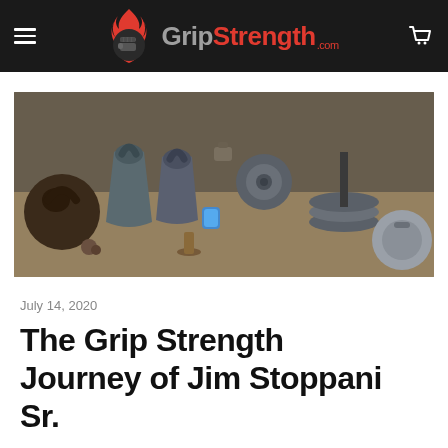GripStrength.com
[Figure (photo): Collection of grip strength training equipment including kettlebells, iron balls, and various grip apparatus arranged on a wooden surface]
July 14, 2020
The Grip Strength Journey of Jim Stoppani Sr.